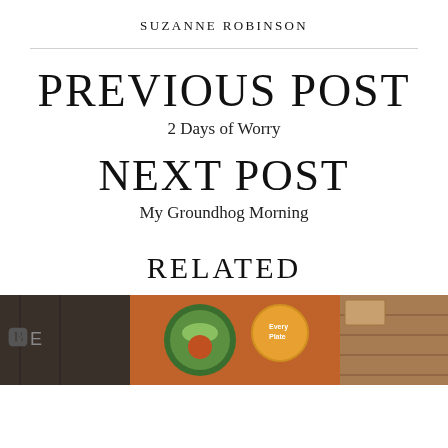SUZANNE ROBINSON
PREVIOUS POST
2 Days of Worry
NEXT POST
My Groundhog Morning
RELATED
[Figure (photo): Photo of EveryPlate meal kit delivery box with food items visible, orange packaging and cardboard boxes on a table]